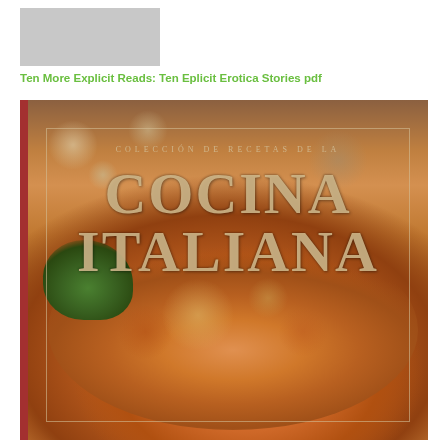[Figure (other): Gray placeholder thumbnail image in top left]
Ten More Explicit Reads: Ten Eplicit Erotica Stories pdf
[Figure (photo): Book cover of 'Coleccion de Recetas de la Cocina Italiana' showing a plate of lasagna with meat sauce and melted cheese, garnished with herbs, on a warm orange/brown background. The book has a red spine and a thin decorative border. The title is displayed in large gold serif letters.]